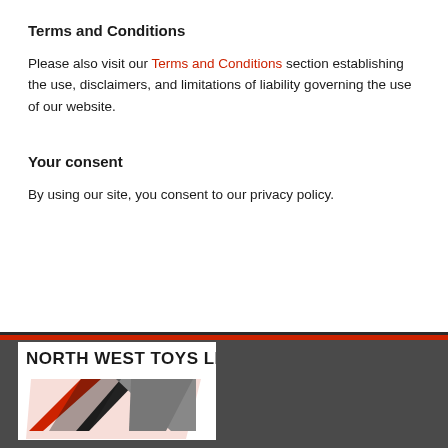Terms and Conditions
Please also visit our Terms and Conditions section establishing the use, disclaimers, and limitations of liability governing the use of our website.
Your consent
By using our site, you consent to our privacy policy.
[Figure (logo): North West Toys LLC logo with red and black diagonal stripe graphic on white background, inside footer with dark grey background]